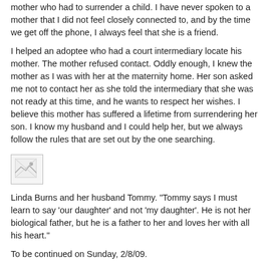mother who had to surrender a child. I have never spoken to a mother that I did not feel closely connected to, and by the time we get off the phone, I always feel that she is a friend.
I helped an adoptee who had a court intermediary locate his mother. The mother refused contact. Oddly enough, I knew the mother as I was with her at the maternity home. Her son asked me not to contact her as she told the intermediary that she was not ready at this time, and he wants to respect her wishes. I believe this mother has suffered a lifetime from surrendering her son. I know my husband and I could help her, but we always follow the rules that are set out by the one searching.
[Figure (photo): A broken/missing image placeholder icon]
Linda Burns and her husband Tommy. "Tommy says I must learn to say 'our daughter' and not 'my daughter'. He is not her biological father, but he is a father to her and loves her with all his heart."
To be continued on Sunday, 2/8/09.